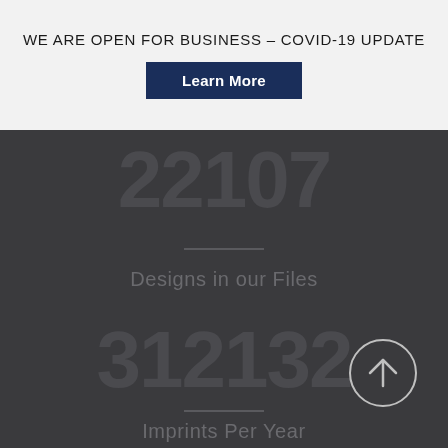WE ARE OPEN FOR BUSINESS – COVID-19 UPDATE
Learn More
22107
Designs in our Files
312132
Imprints Per Year